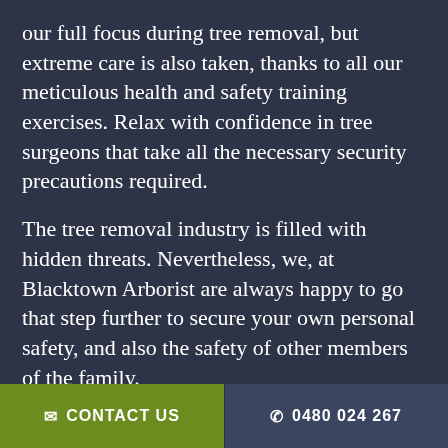our full focus during tree removal, but extreme care is also taken, thanks to all our meticulous health and safety training exercises. Relax with confidence in tree surgeons that take all the necessary security precautions required.
The tree removal industry is filled with hidden threats. Nevertheless, we, at Blacktown Arborist are always happy to go that step further to secure your own personal safety, and also the safety of other members of the family.
More so, you are advised to bring up any security concerns through tree removal. We will help you through the situation and tackle all issues, so you can be at ease. Our skills will amaze you with experience, advanced techniques, cleanliness, and smoothness of support. Contact
✉ CONTACT US   ✆ 0480 024 267